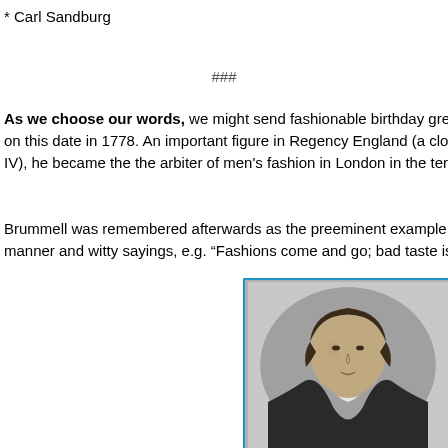* Carl Sandburg
###
As we choose our words, we might send fashionable birthday greetings to G on this date in 1778. An important figure in Regency England (a close pal of th IV), he became the the arbiter of men's fashion in London in the territories und
Brummell was remembered afterwards as the preeminent example of the danc manner and witty sayings, e.g. “Fashions come and go; bad taste is timeless.”
[Figure (photo): Black and white engraved oval portrait of a young man with curly hair, wearing a white cravat and dark coat, likely Beau Brummell.]